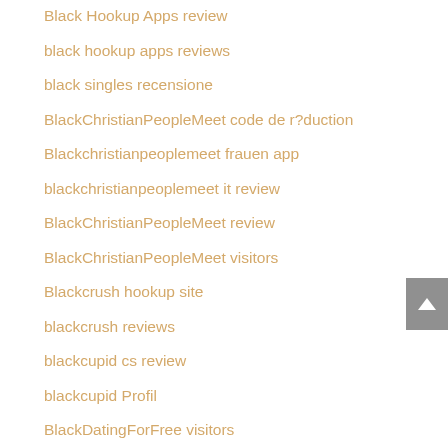Black Hookup Apps review
black hookup apps reviews
black singles recensione
BlackChristianPeopleMeet code de r?duction
Blackchristianpeoplemeet frauen app
blackchristianpeoplemeet it review
BlackChristianPeopleMeet review
BlackChristianPeopleMeet visitors
Blackcrush hookup site
blackcrush reviews
blackcupid cs review
blackcupid Profil
BlackDatingForFree visitors
blackfling frauen app
blackfling przejrze?